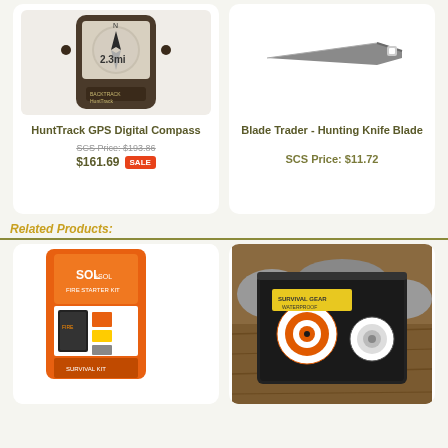[Figure (photo): HuntTrack GPS Digital Compass device showing compass display with 2.3mi reading]
HuntTrack GPS Digital Compass
SCS Price: $193.86
$161.69 SALE
[Figure (photo): Blade Trader hunting knife blade on white background]
Blade Trader - Hunting Knife Blade
SCS Price: $11.72
Related Products:
[Figure (photo): SOL survival kit in orange packaging with various survival tools]
[Figure (photo): Waterproof bag/case with targets and survival gear on rocky ground]